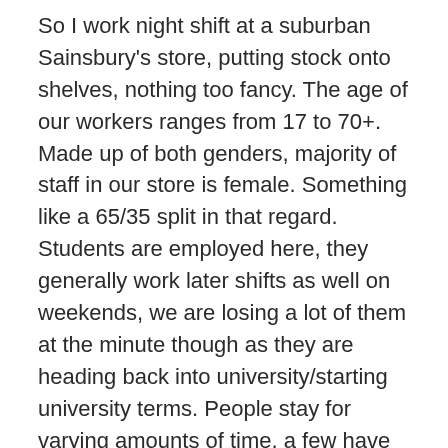So I work night shift at a suburban Sainsbury's store, putting stock onto shelves, nothing too fancy. The age of our workers ranges from 17 to 70+. Made up of both genders, majority of staff in our store is female. Something like a 65/35 split in that regard. Students are employed here, they generally work later shifts as well on weekends, we are losing a lot of them at the minute though as they are heading back into university/starting university terms. People stay for varying amounts of time, a few have been here for over 20 years since the store first opened. Honestly it really does vary as some can stay for as little as a few days before deciding that they just don't want to be here whilst others stay on for months or for several years.
The contracts are on a fixed hours basis. Working hours vary from person to person, the minimum contractual hours offered are 12 with the maximum being 39. Full time vacancies are quite rare now though.Everyone is offered a